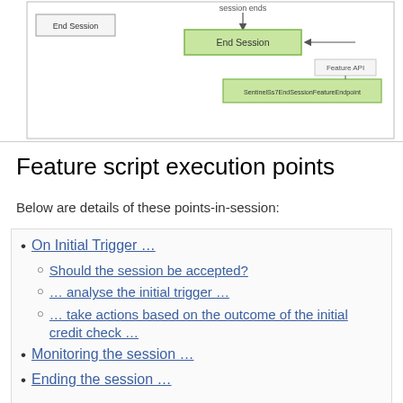[Figure (flowchart): Flowchart showing End Session flow with 'session ends' label, End Session box (green), Feature API label, and SentinelSs7EndSessionFeatureEndpoint box (green)]
Feature script execution points
Below are details of these points-in-session:
On Initial Trigger …
Should the session be accepted?
… analyse the initial trigger …
… take actions based on the outcome of the initial credit check …
Monitoring the session …
Ending the session …